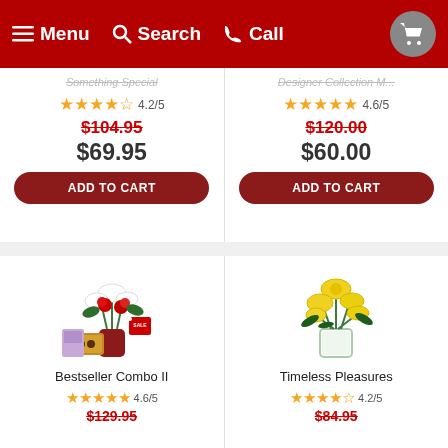Menu  Search  Call
Something Special
4.2/5  $104.95  $69.95
ADD TO CART
Designer Collection M...
4.6/5  $120.00  $60.00
ADD TO CART
[Figure (photo): Bestseller Combo II flower arrangement with red roses, white lilies, chocolates and a card, with a sale tag]
Bestseller Combo II
4.6/5  $129.95
[Figure (photo): Timeless Pleasures flower arrangement with yellow lilies in a glass vase]
Timeless Pleasures
4.2/5  $84.95